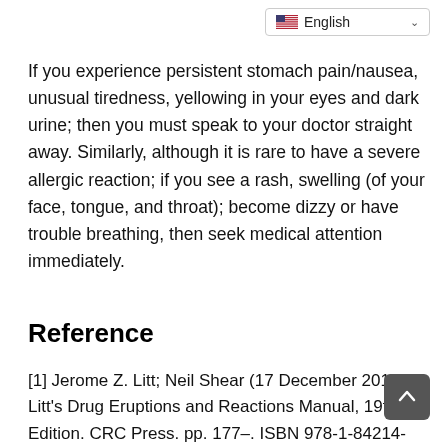If you experience persistent stomach pain/nausea, unusual tiredness, yellowing in your eyes and dark urine; then you must speak to your doctor straight away. Similarly, although it is rare to have a severe allergic reaction; if you see a rash, swelling (of your face, tongue, and throat); become dizzy or have trouble breathing, then seek medical attention immediately.
Reference
[1] Jerome Z. Litt; Neil Shear (17 December 2014). Litt's Drug Eruptions and Reactions Manual, 19th Edition. CRC Press. pp. 177–. ISBN 978-1-84214-599-9.